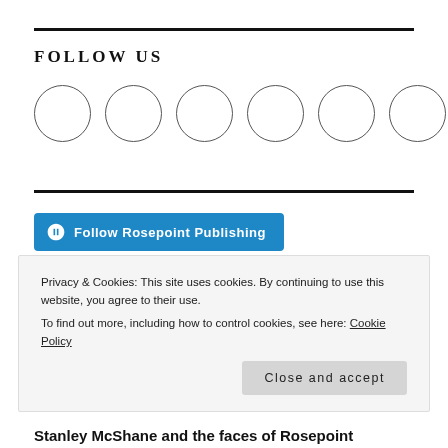FOLLOW US
[Figure (illustration): Six empty circles arranged in a horizontal row representing social media follow buttons]
[Figure (other): Button: Follow Rosepoint Publishing with WordPress logo icon]
Privacy & Cookies: This site uses cookies. By continuing to use this website, you agree to their use.
To find out more, including how to control cookies, see here: Cookie Policy
Close and accept
Stanley McShane and the faces of Rosepoint